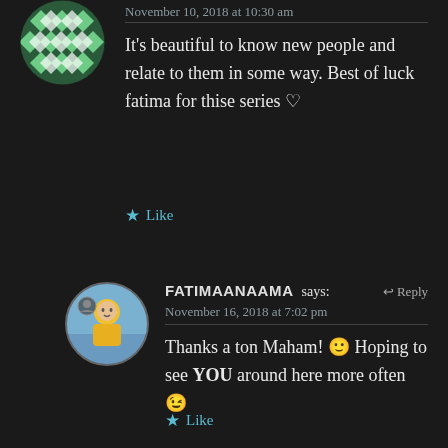November 10, 2018 at 10:30 am
It's beautiful to know new people and relate to them in some way. Best of luck fatima for thise series ♡
Like
[Figure (photo): Round avatar with green and white diamond/checkerboard pattern]
FATIMAANAAMA says: Reply
November 16, 2018 at 7:02 pm
Thanks a ton Maham! 🙂 Hoping to see YOU around here more often 😉
Like
[Figure (photo): Round avatar photo of a woman in yellow clothing]